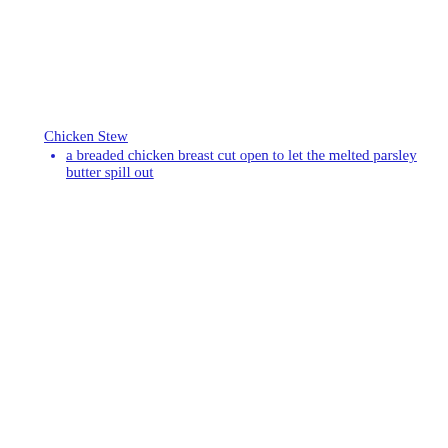Chicken Stew
a breaded chicken breast cut open to let the melted parsley butter spill out